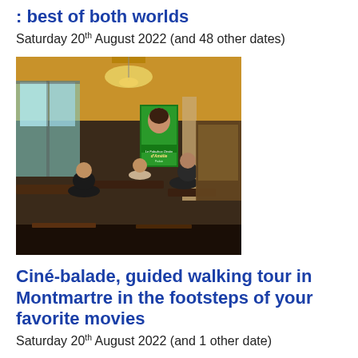: best of both worlds
Saturday 20th August 2022 (and 48 other dates)
[Figure (photo): Interior of a Parisian café with people sitting at tables, an Amélie movie poster visible on the wall, warm lighting and classic bistro decor]
Ciné-balade, guided walking tour in Montmartre in the footsteps of your favorite movies
Saturday 20th August 2022 (and 1 other date)